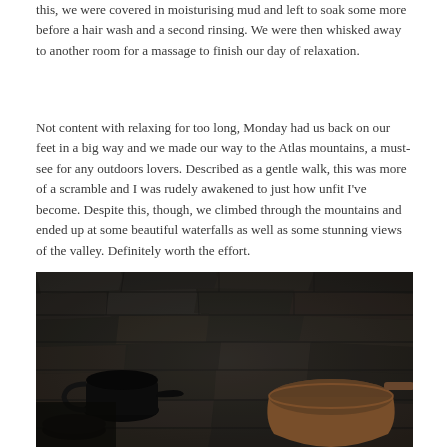this, we were covered in moisturising mud and left to soak some more before a hair wash and a second rinsing. We were then whisked away to another room for a massage to finish our day of relaxation.
Not content with relaxing for too long, Monday had us back on our feet in a big way and we made our way to the Atlas mountains, a must-see for any outdoors lovers. Described as a gentle walk, this was more of a scramble and I was rudely awakened to just how unfit I've become. Despite this, though, we climbed through the mountains and ended up at some beautiful waterfalls as well as some stunning views of the valley. Definitely worth the effort.
[Figure (photo): A dark stone wall with rustic metallic cookware or utensils leaning against it, including what appears to be a black kettle on the left and copper/terracotta pots on the right. The photo has a moody, dark tone.]